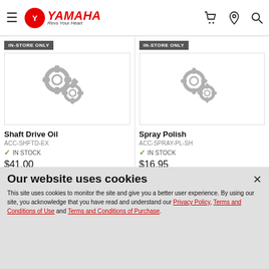Yamaha — Revs your Heart (navigation header with hamburger menu, cart, location, and search icons)
[Figure (screenshot): Yamaha logo with red circle emblem and 'Revs Your Heart' tagline]
IN-STORE ONLY
[Figure (illustration): Grey gear icons placeholder image for Shaft Drive Oil product]
Shaft Drive Oil
ACC-SHFTD-EX
IN STOCK
$41.00
IN-STORE ONLY
[Figure (illustration): Grey gear icons placeholder image for Spray Polish product]
Spray Polish
ACC-SPRAY-PL-SH
IN STOCK
$16.95
Our website uses cookies
This site uses cookies to monitor the site and give you a better user experience. By using our site, you acknowledge that you have read and understand our Privacy Policy, Terms and Conditions of Use and Terms and Conditions of Purchase.